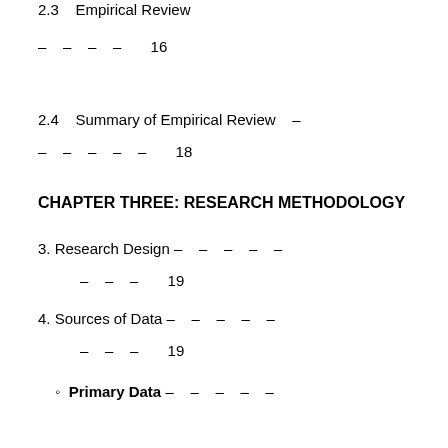2.3    Empirical Review    –    –    –    –    16
2.4    Summary of Empirical Review    –    –    –    –    –    18
CHAPTER THREE: RESEARCH METHODOLOGY
3. Research Design –    –    –    –    –    –    –    19
4. Sources of Data –    –    –    –    –    –    –    19
◦  Primary Data –    –    –    –    –